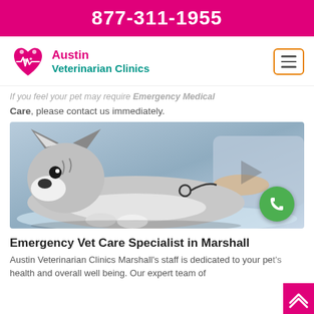877-311-1955
[Figure (logo): Austin Veterinarian Clinics logo with heart and paw icon]
If you feel your pet may require Emergency Medical Care, please contact us immediately.
[Figure (photo): A husky dog lying on a veterinary examination table while a vet checks it with a stethoscope. A green phone call button is overlaid on the bottom right of the image.]
Emergency Vet Care Specialist in Marshall
Austin Veterinarian Clinics Marshall's staff is dedicated to your pet's health and overall well being. Our expert team of